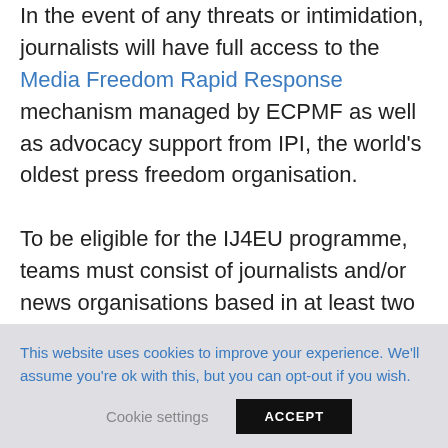In the event of any threats or intimidation, journalists will have full access to the Media Freedom Rapid Response mechanism managed by ECPMF as well as advocacy support from IPI, the world's oldest press freedom organisation.

To be eligible for the IJ4EU programme, teams must consist of journalists and/or news organisations based in at least two
This website uses cookies to improve your experience. We'll assume you're ok with this, but you can opt-out if you wish.

Cookie settings   ACCEPT